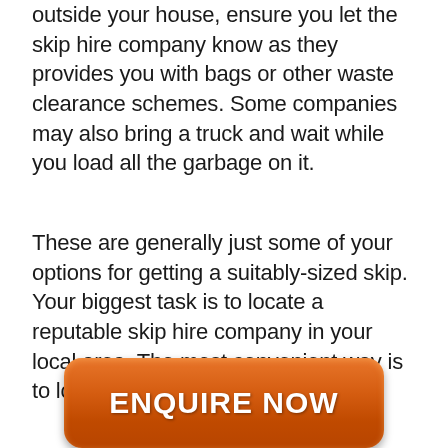outside your house, ensure you let the skip hire company know as they provides you with bags or other waste clearance schemes. Some companies may also bring a truck and wait while you load all the garbage on it.
These are generally just some of your options for getting a suitably-sized skip. Your biggest task is to locate a reputable skip hire company in your local area. The most convenient way is to look for such companies online.
[Figure (other): Orange rounded rectangular button with white bold text reading ENQUIRE NOW]